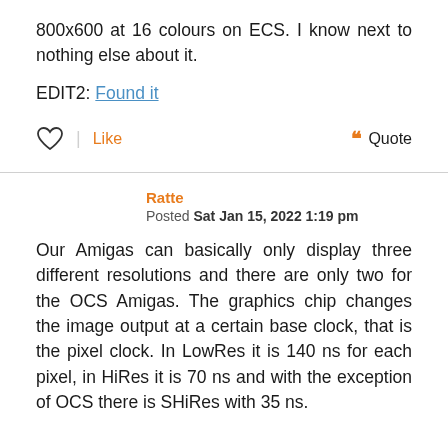800x600 at 16 colours on ECS. I know next to nothing else about it.
EDIT2: Found it
Like   Quote
Ratte
Posted Sat Jan 15, 2022 1:19 pm
Our Amigas can basically only display three different resolutions and there are only two for the OCS Amigas. The graphics chip changes the image output at a certain base clock, that is the pixel clock. In LowRes it is 140 ns for each pixel, in HiRes it is 70 ns and with the exception of OCS there is SHiRes with 35 ns.